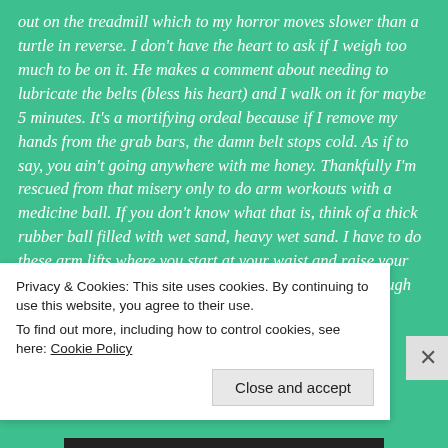out on the treadmill which to my horror moves slower than a turtle in reverse. I don't have the heart to ask if I weigh too much to be on it. He makes a comment about needing to lubricate the belts (bless his heart) and I walk on it for maybe 5 minutes. It's a mortifying ordeal because if I remove my hands from the grab bars, the damn belt stops cold. As if to say, you ain't going anywhere with me honey. Thankfully I'm rescued from that misery only to do arm workouts with a medicine ball. If you don't know what that is, think of a thick rubber ball filled with wet sand, heavy wet sand. I have to do these arm lifts where you start at your waist and raise your arms in an arc to the opposite shoulder. Seems easy enough
Privacy & Cookies: This site uses cookies. By continuing to use this website, you agree to their use.
To find out more, including how to control cookies, see here: Cookie Policy
Close and accept